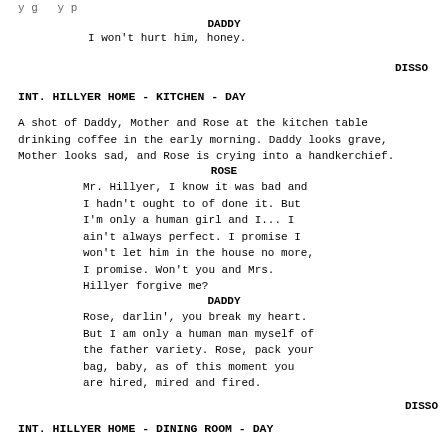y g y p
DADDY
I won't hurt him, honey.
DISSO
INT. HILLYER HOME - KITCHEN - DAY
A shot of Daddy, Mother and Rose at the kitchen table drinking coffee in the early morning. Daddy looks grave, Mother looks sad, and Rose is crying into a handkerchief.
ROSE
Mr. Hillyer, I know it was bad and I hadn't ought to of done it. But I'm only a human girl and I... I ain't always perfect. I promise I won't let him in the house no more, I promise. Won't you and Mrs. Hillyer forgive me?
DADDY
Rose, darlin', you break my heart. But I am only a human man myself of the father variety. Rose, pack your bag, baby, as of this moment you are hired, mired and fired.
DISSO
INT. HILLYER HOME - DINING ROOM - DAY